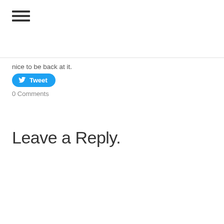[Figure (other): Hamburger menu icon with three horizontal lines]
nice to be back at it.
[Figure (other): Tweet button with Twitter bird icon]
0 Comments
Leave a Reply.